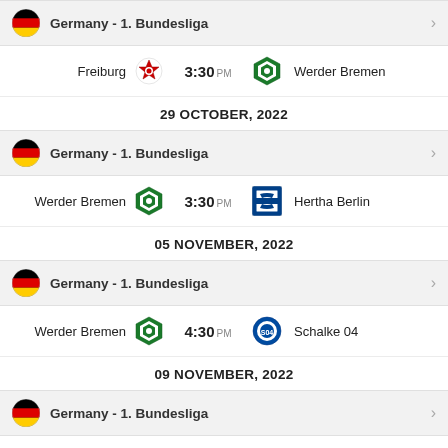Germany - 1. Bundesliga
Freiburg 3:30 PM Werder Bremen
29 OCTOBER, 2022
Germany - 1. Bundesliga
Werder Bremen 3:30 PM Hertha Berlin
05 NOVEMBER, 2022
Germany - 1. Bundesliga
Werder Bremen 4:30 PM Schalke 04
09 NOVEMBER, 2022
Germany - 1. Bundesliga